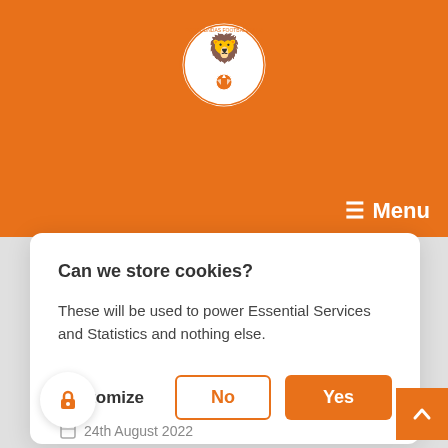[Figure (logo): Football club circular logo with orange lion and soccer ball on white background with orange border]
≡ Menu
Can we store cookies?
These will be used to power Essential Services and Statistics and nothing else.
Customize   No   Yes
24th August 2022